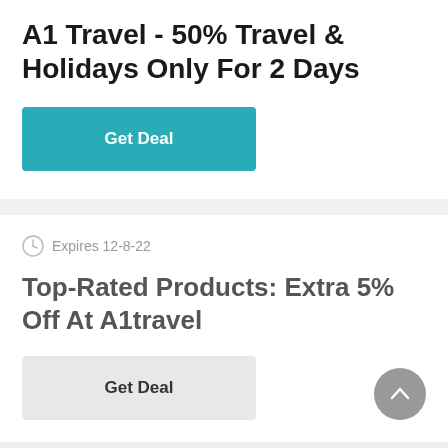A1 Travel - 50% Travel & Holidays Only For 2 Days
Get Deal
Expires 12-8-22
Top-Rated Products: Extra 5% Off At A1travel
Get Deal
Expires 12-8-22